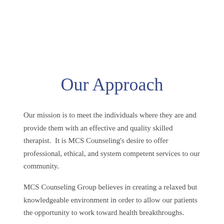Our Approach
Our mission is to meet the individuals where they are and provide them with an effective and quality skilled therapist.  It is MCS Counseling's desire to offer professional, ethical, and system competent services to our community.
MCS Counseling Group believes in creating a relaxed but knowledgeable environment in order to allow our patients the opportunity to work toward health breakthroughs.